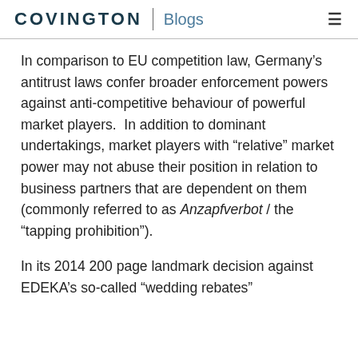COVINGTON | Blogs
In comparison to EU competition law, Germany’s antitrust laws confer broader enforcement powers against anti-competitive behaviour of powerful market players.  In addition to dominant undertakings, market players with “relative” market power may not abuse their position in relation to business partners that are dependent on them (commonly referred to as Anzapfverbot / the “tapping prohibition”).
In its 2014 200 page landmark decision against EDEKA’s so-called “wedding rebates”